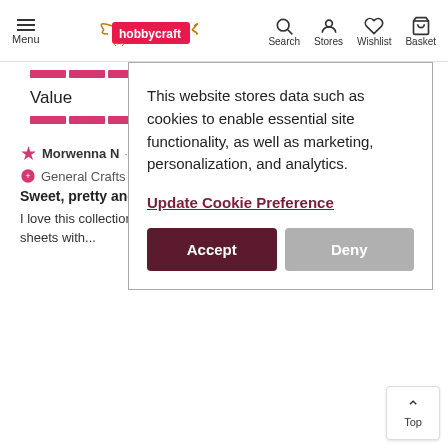Menu | hobbycraft | Search | Stores | Wishlist | Basket
Value
This website stores data such as cookies to enable essential site functionality, as well as marketing, personalization, and analytics.
Update Cookie Preference
Accept
Deny
★ Morwenna N · a month ago
⊕ General Crafts Be...
Sweet, pretty and great quality
I love this collection. I bought the sticker sheets with...